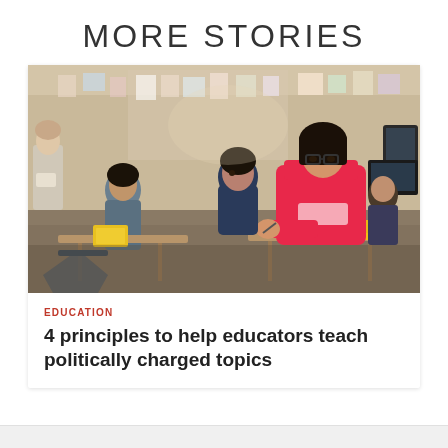MORE STORIES
[Figure (photo): A classroom scene with students sitting at desks. A girl in a bright pink hoodie wearing glasses is prominently featured in the foreground, looking attentively. Other students are visible in the background, along with a teacher near a whiteboard. The classroom walls have posters and papers pinned to them.]
EDUCATION
4 principles to help educators teach politically charged topics